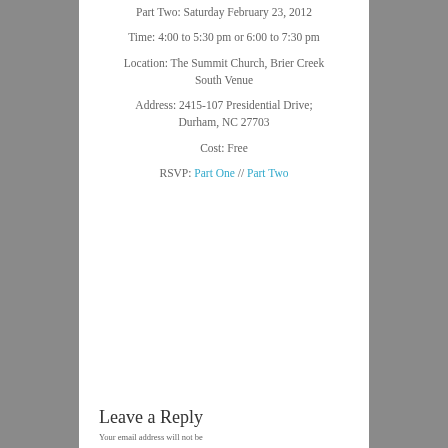Part Two: Saturday February 23, 2012
Time: 4:00 to 5:30 pm or 6:00 to 7:30 pm
Location: The Summit Church, Brier Creek South Venue
Address: 2415-107 Presidential Drive; Durham, NC 27703
Cost: Free
RSVP: Part One // Part Two
Leave a Reply